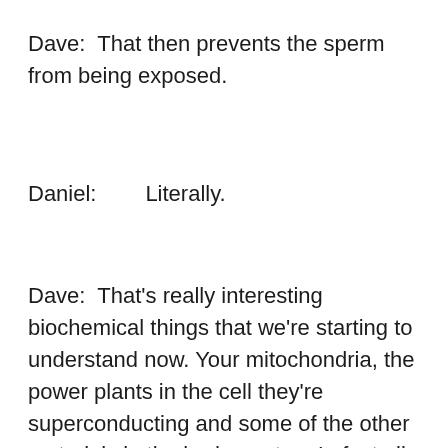Dave:  That then prevents the sperm from being exposed.
Daniel:        Literally.
Dave:  That's really interesting biochemical things that we're starting to understand now. Your mitochondria, the power plants in the cell they're superconducting and some of the other materials in the body are too. In fact all of our nerves apparently have some superconductive properties. What's happening is that when you're around these frequencies it reduces your mitochondrial